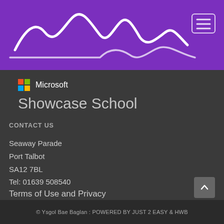[Figure (logo): School logo with white wave/mountain line art on purple background, and hamburger menu icon in top right]
[Figure (logo): Microsoft logo (4-color grid) with text 'Microsoft' and subtitle 'Showcase School']
Showcase School
CONTACT US
Seaway Parade
Port Talbot
SA12 7BL
Tel: 01639 508540
Terms of Use and Privacy
© Ysgol Bae Baglan : POWERED BY JUST 2 EASY & HWB